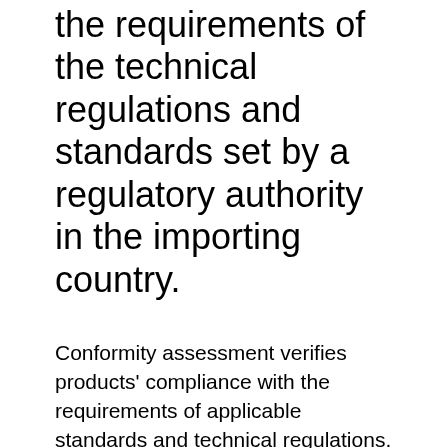the requirements of the technical regulations and standards set by a regulatory authority in the importing country.
Conformity assessment verifies products' compliance with the requirements of applicable standards and technical regulations. It follows a review by SGS product specialists of reports from verification activities such as laboratory testing, physical inspection and factory audits. Conformity of products is evidenced by the issuance of a Certificate of Conformity (CoC), a document that is mandatory for customs clearance.
We operate PCA services and assist manufacturers and suppliers to achieve compliance of their exports to many countries.